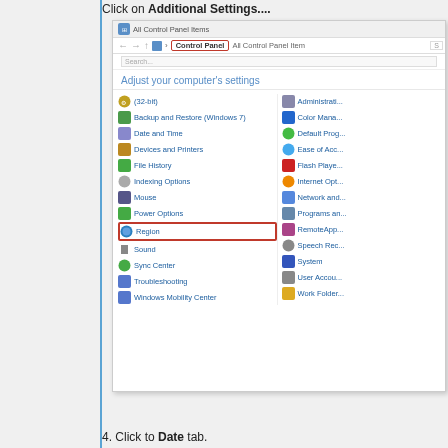Click on Additional Settings....
[Figure (screenshot): Windows Control Panel screenshot showing All Control Panel Items with 'Control Panel' highlighted in address bar and 'Region' item highlighted with a red rectangle. Items listed include: (32-bit), Backup and Restore (Windows 7), Date and Time, Devices and Printers, File History, Indexing Options, Mouse, Power Options, Region, Sound, Sync Center, Troubleshooting, Windows Mobility Center, Administrative Tools, Color Management, Default Programs, Ease of Access, Flash Player, Internet Options, Network and Sharing, Programs and Features, RemoteApp, Speech Recognition, System, User Accounts, Work Folders]
4. Click to Date tab.